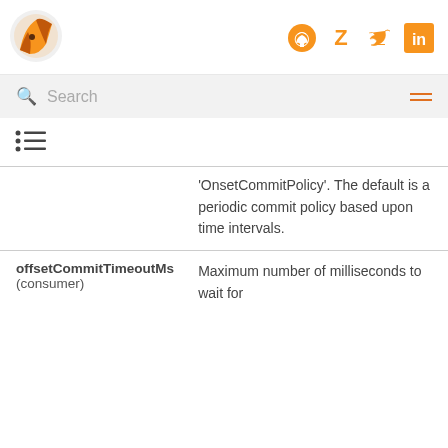Logo and navigation icons
Search
[Figure (other): Table of contents icon]
| Parameter | Description |
| --- | --- |
|  | 'OnsetCommitPolicy'. The default is a periodic commit policy based upon time intervals. |
| offsetCommitTimeoutMs (consumer) | Maximum number of milliseconds to wait for |